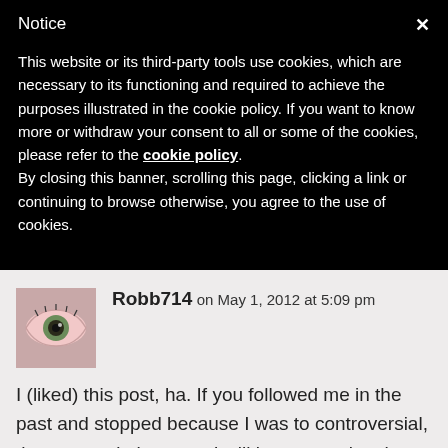Notice
This website or its third-party tools use cookies, which are necessary to its functioning and required to achieve the purposes illustrated in the cookie policy. If you want to know more or withdraw your consent to all or some of the cookies, please refer to the cookie policy.
By closing this banner, scrolling this page, clicking a link or continuing to browse otherwise, you agree to the use of cookies.
[Figure (photo): Avatar image of a close-up of a human eye with greenish iris]
Robb714 on May 1, 2012 at 5:09 pm
I (liked) this post, ha. If you followed me in the past and stopped because I was to controversial, then try again because I will be re-entering the corporate world next week (where they brings good things to life) and there is no freedom of speech in that arena, wink wink. Happy...